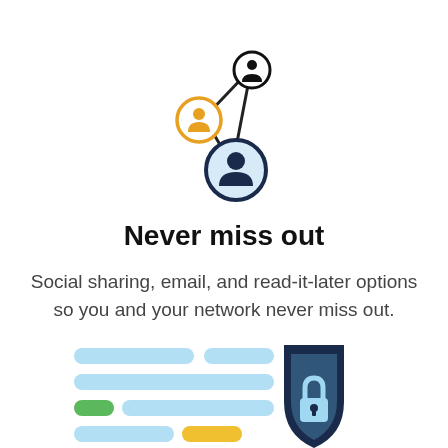[Figure (illustration): Social sharing network icon: three circular user avatars connected by lines, arranged in a triangular network pattern. The top-right circle is small with a dark outline, the mid-left circle is medium with a yellow/gold border, and the bottom circle is the largest with a dark navy border and light blue fill.]
Never miss out
Social sharing, email, and read-it-later options so you and your network never miss out.
[Figure (illustration): Security/privacy icon: a dark navy shield with a padlock symbol in light blue, overlapping a list of colored horizontal bars (light blue bars, a green bar, and a yellow/orange bar) representing form fields or list items.]